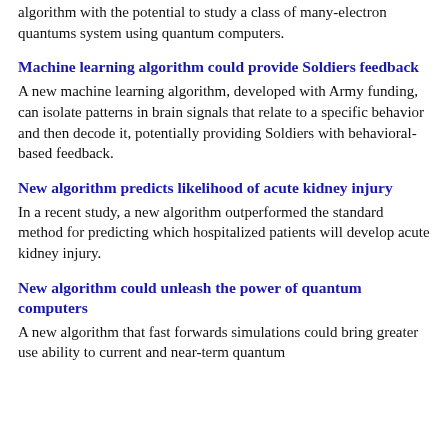algorithm with the potential to study a class of many-electron quantums system using quantum computers.
Machine learning algorithm could provide Soldiers feedback
A new machine learning algorithm, developed with Army funding, can isolate patterns in brain signals that relate to a specific behavior and then decode it, potentially providing Soldiers with behavioral-based feedback.
New algorithm predicts likelihood of acute kidney injury
In a recent study, a new algorithm outperformed the standard method for predicting which hospitalized patients will develop acute kidney injury.
New algorithm could unleash the power of quantum computers
A new algorithm that fast forwards simulations could bring greater use ability to current and near-term quantum